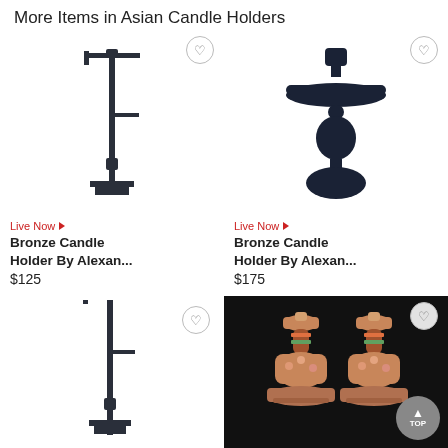More Items in Asian Candle Holders
[Figure (photo): Tall dark metal bronze candle holder with T-bar top and square base]
[Figure (photo): Dark navy/black metal candle holder with round tray and bulbous base]
Live Now ▶
Bronze Candle Holder By Alexan...
$125
Live Now ▶
Bronze Candle Holder By Alexan...
$175
[Figure (photo): Tall dark metal bronze candle holder (same style as first, partially visible)]
[Figure (photo): Two ornate Asian porcelain candle holders with floral decoration on dark background]